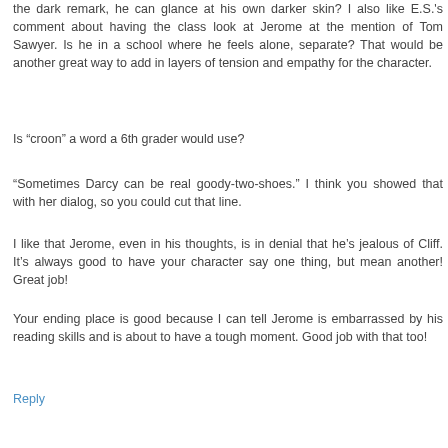the dark remark, he can glance at his own darker skin? I also like E.S.'s comment about having the class look at Jerome at the mention of Tom Sawyer. Is he in a school where he feels alone, separate? That would be another great way to add in layers of tension and empathy for the character.
Is “croon” a word a 6th grader would use?
“Sometimes Darcy can be real goody-two-shoes.” I think you showed that with her dialog, so you could cut that line.
I like that Jerome, even in his thoughts, is in denial that he’s jealous of Cliff. It’s always good to have your character say one thing, but mean another! Great job!
Your ending place is good because I can tell Jerome is embarrassed by his reading skills and is about to have a tough moment. Good job with that too!
Reply